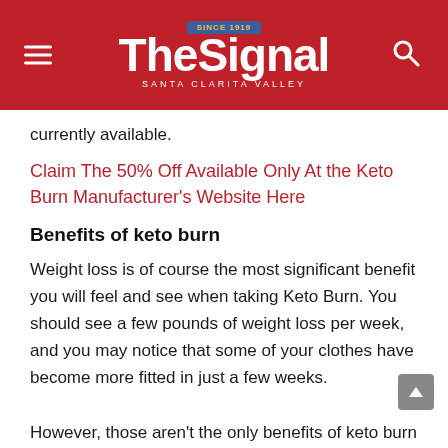The Signal — Santa Clarita Valley
currently available.
Claim The 50% Off Available Only At the Keto Burn Manufacturer's Website Here
Benefits of keto burn
Weight loss is of course the most significant benefit you will feel and see when taking Keto Burn. You should see a few pounds of weight loss per week, and you may notice that some of your clothes have become more fitted in just a few weeks.
However, those aren't the only benefits of keto burn